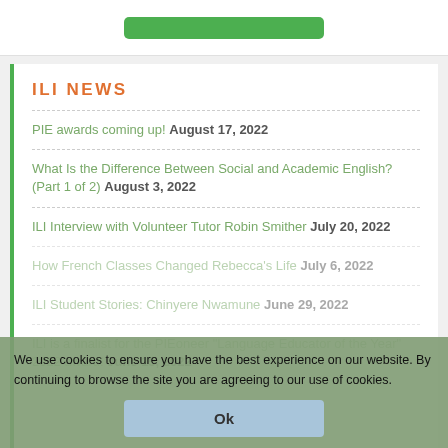ILI NEWS
PIE awards coming up! August 17, 2022
What Is the Difference Between Social and Academic English? (Part 1 of 2) August 3, 2022
ILI Interview with Volunteer Tutor Robin Smither July 20, 2022
How French Classes Changed Rebecca's Life July 6, 2022
ILI Student Stories: Chinyere Nwamune June 29, 2022
ILI is a finalist for the PIEoneer "Language Educator of the Year" 2022 award! June 15, 2022
We use cookies to ensure you have the best experience on our website. By continuing to browse the site you are agreeing to our use of cookies.
Ok